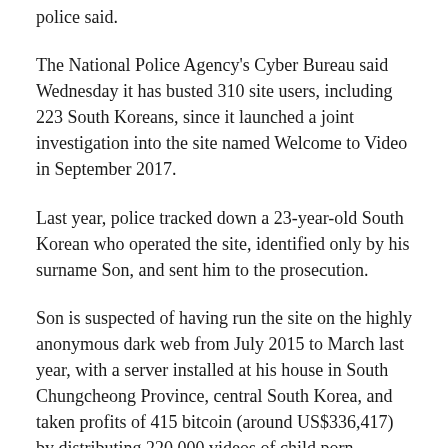police said.
The National Police Agency's Cyber Bureau said Wednesday it has busted 310 site users, including 223 South Koreans, since it launched a joint investigation into the site named Welcome to Video in September 2017.
Last year, police tracked down a 23-year-old South Korean who operated the site, identified only by his surname Son, and sent him to the prosecution.
Son is suspected of having run the site on the highly anonymous dark web from July 2015 to March last year, with a server installed at his house in South Chungcheong Province, central South Korea, and taken profits of 415 bitcoin (around US$336,417) by distributing 220,000 videos of child porn.
The site is known to have had 4,000 people as paid members.
Son is serving his sentence of one year and six months on child pornography charges, according to police.